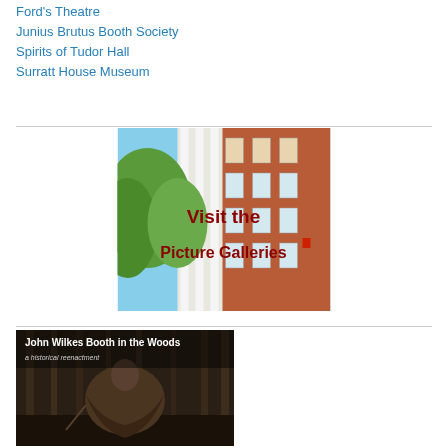Ford's Theatre
Junius Brutus Booth Society
Spirits of Tudor Hall
Surratt House Museum
[Figure (photo): Photo of a brick building with trees, overlaid with text 'Visit the Picture Galleries' in dark red]
[Figure (photo): Photo of a person in woods under a cloak, with overlay text 'John Wilkes Booth in the Woods - a historical reenactment']